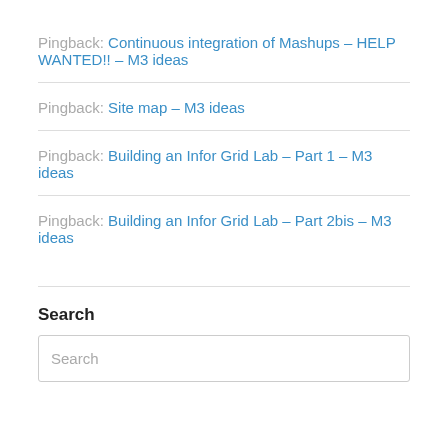Pingback: Continuous integration of Mashups – HELP WANTED!! – M3 ideas
Pingback: Site map – M3 ideas
Pingback: Building an Infor Grid Lab – Part 1 – M3 ideas
Pingback: Building an Infor Grid Lab – Part 2bis – M3 ideas
Search
Search